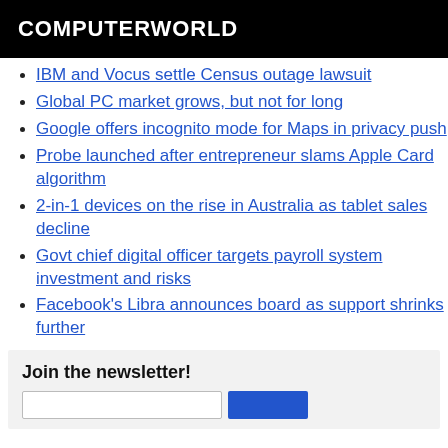COMPUTERWORLD
IBM and Vocus settle Census outage lawsuit
Global PC market grows, but not for long
Google offers incognito mode for Maps in privacy push
Probe launched after entrepreneur slams Apple Card algorithm
2-in-1 devices on the rise in Australia as tablet sales decline
Govt chief digital officer targets payroll system investment and risks
Facebook's Libra announces board as support shrinks further
Join the newsletter!